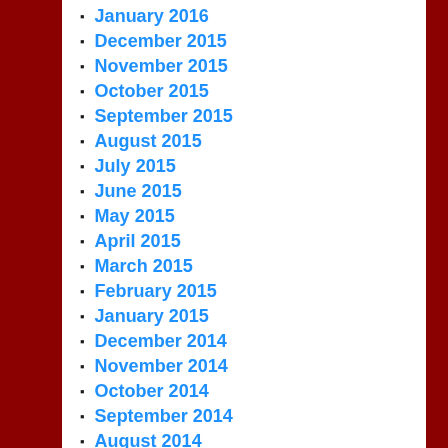January 2016
December 2015
November 2015
October 2015
September 2015
August 2015
July 2015
June 2015
May 2015
April 2015
March 2015
February 2015
January 2015
December 2014
November 2014
October 2014
September 2014
August 2014
July 2014
June 2014
April 2014
March 2014